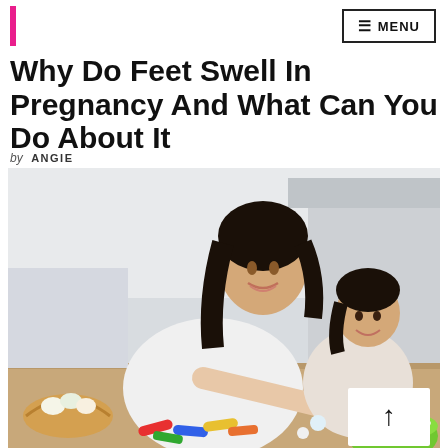MENU
Why Do Feet Swell In Pregnancy And What Can You Do About It
by ANGIE
[Figure (photo): A smiling young Asian woman (mother) and a small child sitting together at a table covered with paints, brushes, egg-shaped objects, and a green bowl. They appear to be doing a craft activity. Bright, modern kitchen/living room background.]